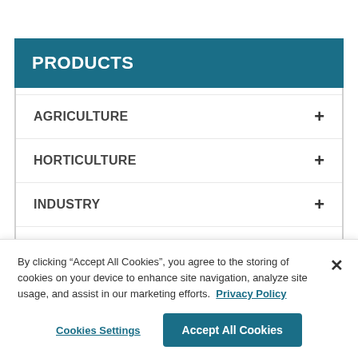PRODUCTS
AGRICULTURE
HORTICULTURE
INDUSTRY
RESOURCES
By clicking “Accept All Cookies”, you agree to the storing of cookies on your device to enhance site navigation, analyze site usage, and assist in our marketing efforts.  Privacy Policy
Cookies Settings
Accept All Cookies